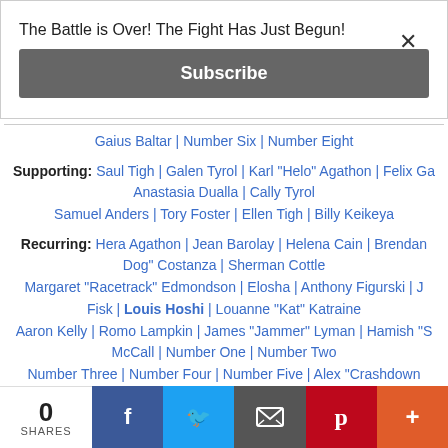The Battle is Over! The Fight Has Just Begun!
Subscribe
Gaius Baltar | Number Six | Number Eight
Supporting: Saul Tigh | Galen Tyrol | Karl "Helo" Agathon | Felix Ga... Anastasia Dualla | Cally Tyrol
Samuel Anders | Tory Foster | Ellen Tigh | Billy Keikeya
Recurring: Hera Agathon | Jean Barolay | Helena Cain | Brendan... Dog" Costanza | Sherman Cottle
Margaret "Racetrack" Edmondson | Elosha | Anthony Figurski | J... Fisk | Louis Hoshi | Louanne "Kat" Katraine
Aaron Kelly | Romo Lampkin | James "Jammer" Lyman | Hamish "S... McCall | Number One | Number Two
Number Three | Number Four | Number Five | Alex "Crashdown...
0 SHARES